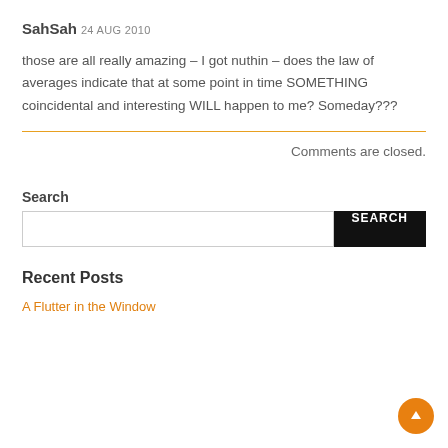SahSah 24 AUG 2010
those are all really amazing – I got nuthin – does the law of averages indicate that at some point in time SOMETHING coincidental and interesting WILL happen to me? Someday???
Comments are closed.
Search
Recent Posts
A Flutter in the Window